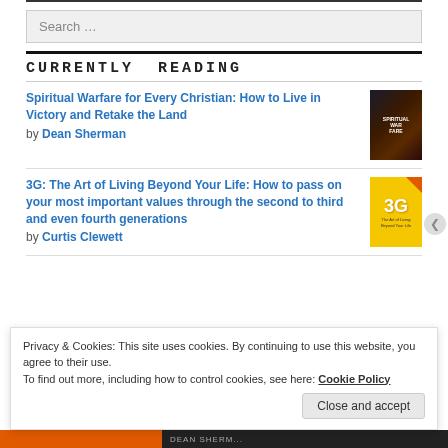Search ...
CURRENTLY READING
Spiritual Warfare for Every Christian: How to Live in Victory and Retake the Land by Dean Sherman
3G: The Art of Living Beyond Your Life: How to pass on your most important values through the second to third and even fourth generations by Curtis Clewett
Privacy & Cookies: This site uses cookies. By continuing to use this website, you agree to their use. To find out more, including how to control cookies, see here: Cookie Policy
Close and accept